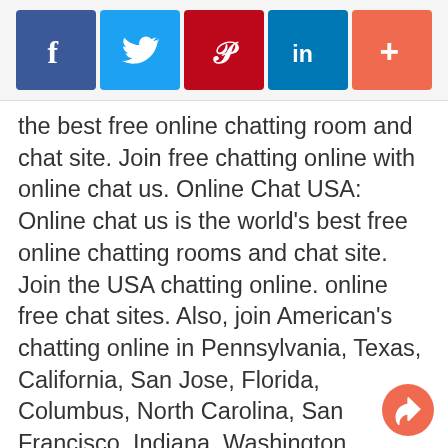[Figure (infographic): Social share button bar with Facebook (blue), Twitter (light blue), Pinterest (dark red), LinkedIn (blue), and a More/Plus (orange-red) button icons]
the best free online chatting room and chat site. Join free chatting online with online chat us. Online Chat USA: Online chat us is the world's best free online chatting rooms and chat site. Join the USA chatting online. online free chat sites. Also, join American's chatting online in Pennsylvania, Texas, California, San Jose, Florida, Columbus, North Carolina, San Francisco, Indiana, Washington, Portland, Las Vegas, Who Speak English, Spanish, German, Indian Hindi, Telugu, Malayalam, Tamil, Punjabi and more, chat rooms. Onlinechatus.com is a free chatroom